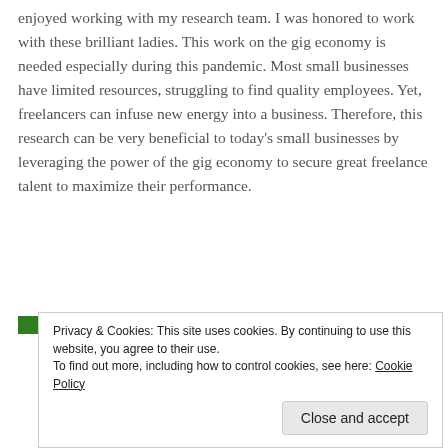enjoyed working with my research team. I was honored to work with these brilliant ladies. This work on the gig economy is needed especially during this pandemic. Most small businesses have limited resources, struggling to find quality employees. Yet, freelancers can infuse new energy into a business. Therefore, this research can be very beneficial to today's small businesses by leveraging the power of the gig economy to secure great freelance talent to maximize their performance.
Back up your site
Privacy & Cookies: This site uses cookies. By continuing to use this website, you agree to their use. To find out more, including how to control cookies, see here: Cookie Policy